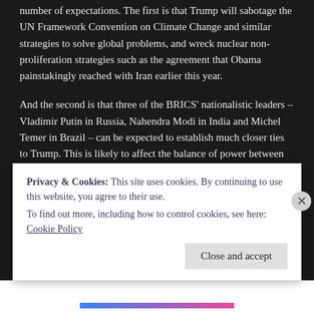number of expectations. The first is that Trump will sabotage the UN Framework Convention on Climate Change and similar strategies to solve global problems, and wreck nuclear non-proliferation strategies such as the agreement that Obama painstakingly reached with Iran earlier this year.
And the second is that three of the BRICS' nationalistic leaders – Vladimir Putin in Russia, Nahendra Modi in India and Michel Temer in Brazil – can be expected to establish much closer ties to Trump. This is likely to affect the balance of power between geographical regions, added to which are the drift of Pakistan, Turkey and the Philippines away from Washington. Trump's hatred of China is another indeterminate factor.
Regardless of the geopolitical maneuvers, it's time for a 'multilateralism-from-below' in which traditional progressive
Privacy & Cookies: This site uses cookies. By continuing to use this website, you agree to their use.
To find out more, including how to control cookies, see here: Cookie Policy